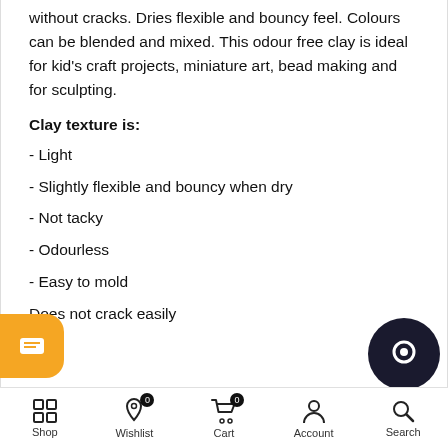without cracks. Dries flexible and bouncy feel. Colours can be blended and mixed. This odour free clay is ideal for kid's craft projects, miniature art, bead making and for sculpting.
Clay texture is:
- Light
- Slightly flexible and bouncy when dry
- Not tacky
- Odourless
- Easy to mold
Does not crack easily
Shop | Wishlist 0 | Cart 0 | Account | Search